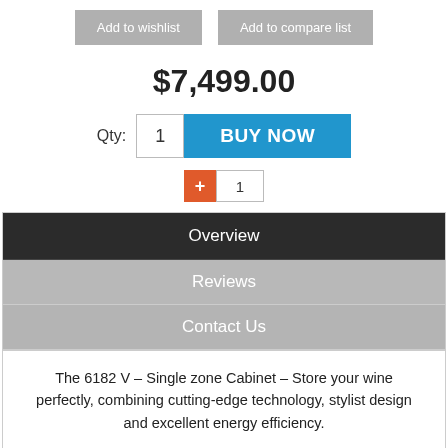Add to wishlist
Add to compare list
$7,499.00
Qty: 1  BUY NOW
+ 1
Overview
Reviews
Contact Us
The 6182 V – Single zone Cabinet – Store your wine perfectly, combining cutting-edge technology, stylist design and excellent energy efficiency.
Additional Information